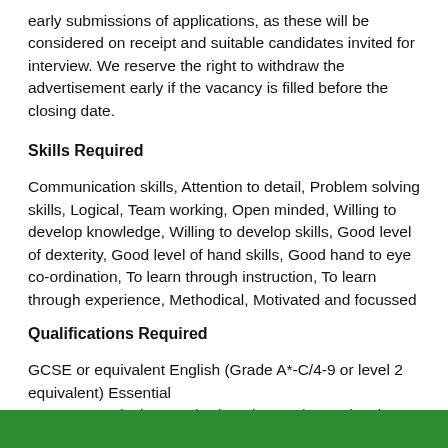early submissions of applications, as these will be considered on receipt and suitable candidates invited for interview. We reserve the right to withdraw the advertisement early if the vacancy is filled before the closing date.
Skills Required
Communication skills, Attention to detail, Problem solving skills, Logical, Team working, Open minded, Willing to develop knowledge, Willing to develop skills, Good level of dexterity, Good level of hand skills, Good hand to eye co-ordination, To learn through instruction, To learn through experience, Methodical, Motivated and focussed
Qualifications Required
GCSE or equivalent English (Grade A*-C/4-9 or level 2 equivalent) Essential
GCSE or equivalent Maths (Grade A*-C/4-9 or level 2 equivalent) Essential